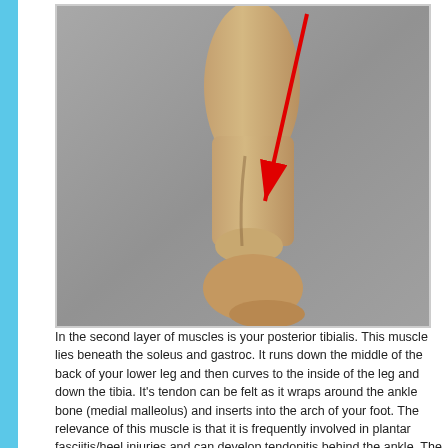[Figure (photo): Photograph of a human lower leg and foot from behind/side, showing the posterior tibialis tendon area. A red arrow points diagonally from the upper-middle area of the calf down to the ankle/tendon region. The background is gray.]
In the second layer of muscles is your posterior tibialis. This muscle lies beneath the soleus and gastroc. It runs down the middle of the back of your lower leg and then curves to the inside of the leg and down the tibia. It's tendon can be felt as it wraps around the ankle bone (medial malleolus) and inserts into the arch of your foot. The relevance of this muscle is that it is frequently involved in plantar fasciitis/heel injuries and can develop tendonitis behind the ankle. The post tib helps support the arch and stabilizes the ankle as you step onto your foot. From a muscle action perspective, the post tib plantarflexes (points the toes down) and inverts the calcaneous (points the toes in).